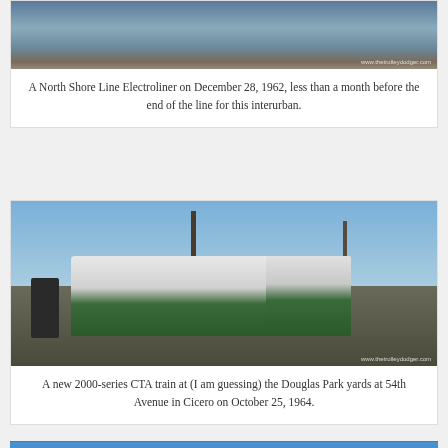[Figure (photo): Top portion of a North Shore Line Electroliner photograph, showing train tracks in winter/snowy conditions. Watermark reads www.thetrolleydodger.com]
A North Shore Line Electroliner on December 28, 1962, less than a month before the end of the line for this interurban.
[Figure (photo): A new 2000-series CTA green train at Douglas Park yards at 54th Avenue in Cicero on October 25, 1964. People stand on the platform to the left. Utility poles visible. Blue sky background. Watermark reads www.thetrolleydodger.com]
A new 2000-series CTA train at (I am guessing) the Douglas Park yards at 54th Avenue in Cicero on October 25, 1964.